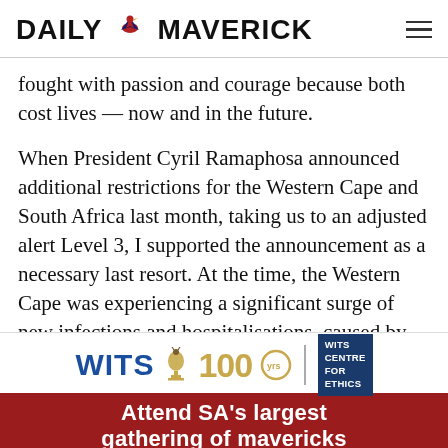DAILY MAVERICK
fought with passion and courage because both cost lives — now and in the future.
When President Cyril Ramaphosa announced additional restrictions for the Western Cape and South Africa last month, taking us to an adjusted alert Level 3, I supported the announcement as a necessary last resort. At the time, the Western Cape was experiencing a significant surge of new infections and hospitalisations, caused by this new highly transmissible variant of Covid-19.
[Figure (infographic): WITS 100 anniversary logo with WITS Centre for Ethics branding, and a red banner reading 'Attend SA's largest gathering of mavericks']